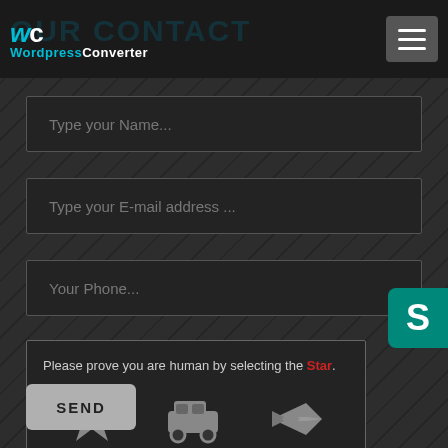WordpressConverter — OUR CONTACT
Type your Name...
Type your E-mail address ...
Your Phone...
Please prove you are human by selecting the Star.
[Figure (infographic): CAPTCHA widget with three icon choices: star, car, airplane]
SEND